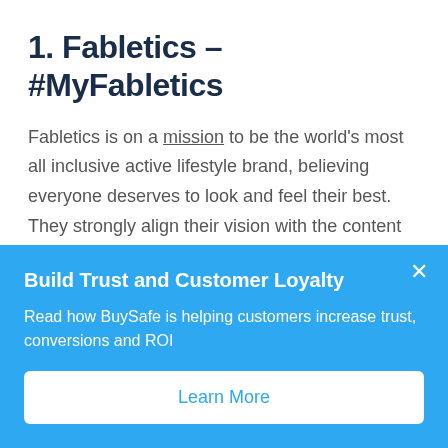1. Fabletics - #MyFabletics
Fabletics is on a mission to be the world's most all inclusive active lifestyle brand, believing everyone deserves to look and feel their best. They strongly align their vision with the content they share across their website and social channels. Fabletics includes user-generated content throughout the customer
[Figure (other): Blue popup/modal overlay with title 'Build Trust and Customer Loyalty', body text 'Read how BuySafe is helping customers increase trust, conversions and ROI', a close (x) button, and a 'Learn More' white button.]